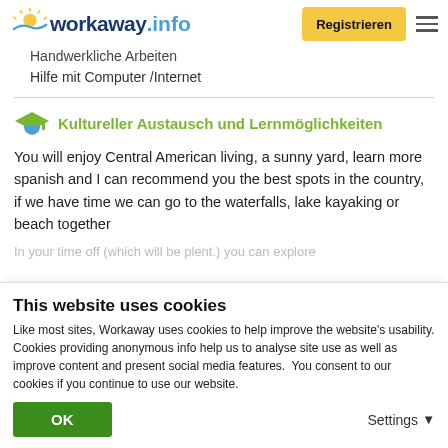workaway.info — Registrieren
Handwerkliche Arbeiten
Hilfe mit Computer /Internet
Kultureller Austausch und Lernmöglichkeiten
You will enjoy Central American living, a sunny yard, learn more spanish and I can recommend you the best spots in the country, if we have time we can go to the waterfalls, lake kayaking or beach together
In your time off (which will be plent.) you can explore
This website uses cookies
Like most sites, Workaway uses cookies to help improve the website's usability. Cookies providing anonymous info help us to analyse site use as well as improve content and present social media features.  You consent to our cookies if you continue to use our website.
OK
Settings